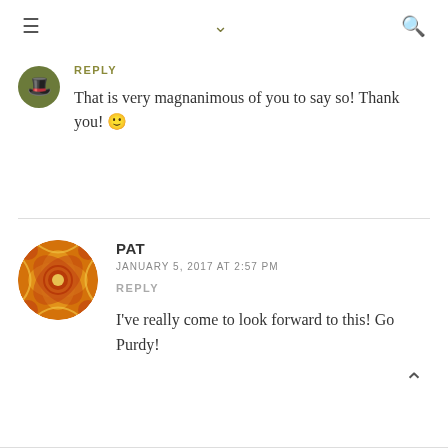≡  ∨  🔍
REPLY
That is very magnanimous of you to say so! Thank you! 🙂
PAT
JANUARY 5, 2017 AT 2:57 PM
REPLY
I've really come to look forward to this! Go Purdy!